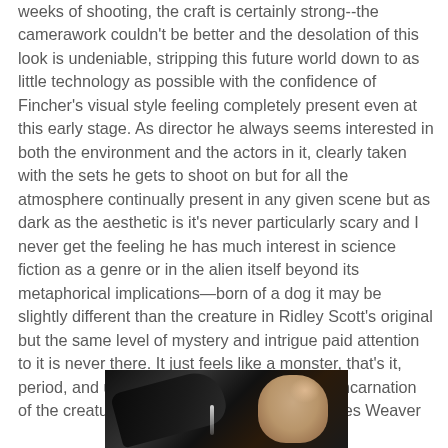weeks of shooting, the craft is certainly strong--the camerawork couldn't be better and the desolation of this look is undeniable, stripping this future world down to as little technology as possible with the confidence of Fincher's visual style feeling completely present even at this early stage. As director he always seems interested in both the environment and the actors in it, clearly taken with the sets he gets to shoot on but for all the atmosphere continually present in any given scene but as dark as the aesthetic is it's never particularly scary and I never get the feeling he has much interest in science fiction as a genre or in the alien itself beyond its metaphorical implications—born of a dog it may be slightly different than the creature in Ridley Scott's original but the same level of mystery and intrigue paid attention to it is never there. It just feels like a monster, that's it, period, and ultimately is the least interesting incarnation of the creature during the four films in the series Weaver
[Figure (photo): A dark film still showing a dark alien creature arm/appendage on the left and a person's face on the right appearing distressed, with some liquid dripping between them.]